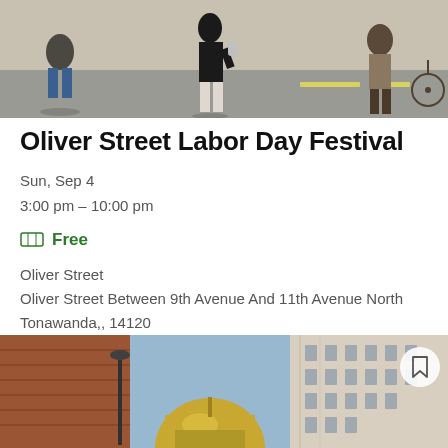[Figure (photo): Outdoor street scene with people walking on a sunny day]
Oliver Street Labor Day Festival
Sun, Sep 4
3:00 pm – 10:00 pm
🎫 Free
Oliver Street
Oliver Street Between 9th Avenue And 11th Avenue North Tonawanda,, 14120
⇌ Niagara County
Join the Oliver Street Merchants Association on Sunday, September 4th for a family friendly Labor Day Festival with great food and drinks! Festivities ...
[Figure (photo): Street view of historic downtown buildings with a gold dome visible]